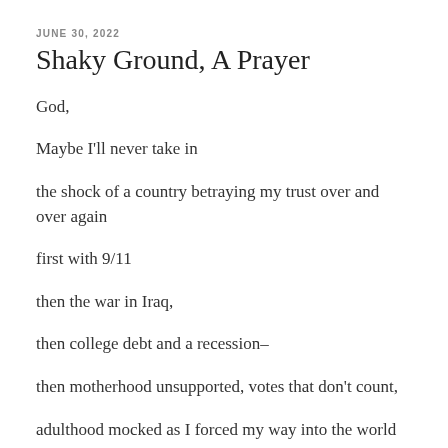JUNE 30, 2022
Shaky Ground, A Prayer
God,
Maybe I'll never take in
the shock of a country betraying my trust over and over again
first with 9/11
then the war in Iraq,
then college debt and a recession–
then motherhood unsupported, votes that don't count,
adulthood mocked as I forced my way into the world